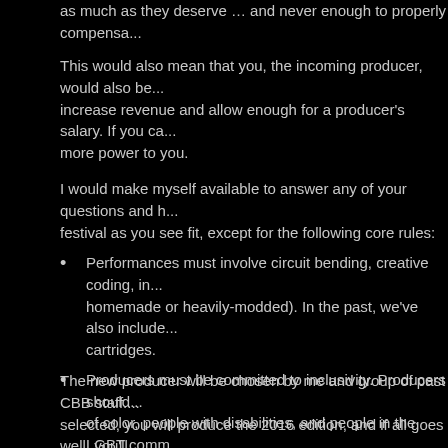as much as they deserve … and never enough to properly compensa...
This would also mean that you, the incoming producer, would also be... increase revenue and allow enough for a producer's salary. If you ca... more power to you.
I would make myself available to answer any of your questions and h... festival as you see fit, except for the following core rules:
Performances must involve circuit bending, creative coding, in... homemade or heavily-modded). In the past, we've also include... cartridges.
Producers must be committed to inclusivity. Producers should... of color, people with disabilities, and people in the LGBT comm...
The Code of Conduct should reflect that spirit of inclusivity by t...
The new producer will be chosen by me and group of past CBB staff.... selected, you will produce the 2016 edition, and if all goes well, you'll... should e-mail me at tonyyoungblood@gmail.com.